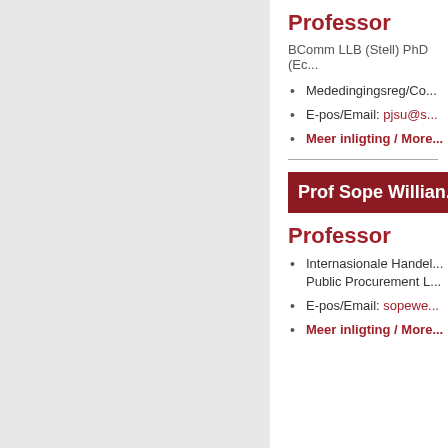Professor
BComm LLB (Stell) PhD (Ed...)
Mededingingsreg/Co...
E-pos/Email: pjsu@s...
Meer inligting / More...
Prof Sope Willian...
Professor
Internasionale Handel... Public Procurement L...
E-pos/Email: sopewe...
Meer inligting / More...